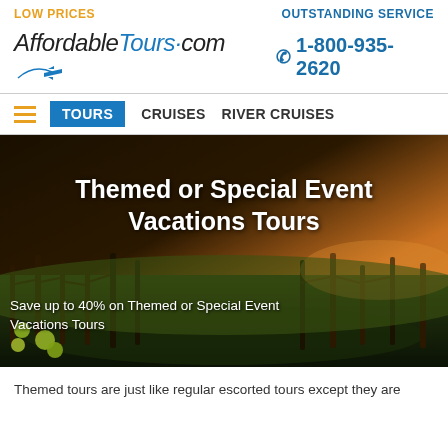LOW PRICES   OUTSTANDING SERVICE
[Figure (logo): AffordableTours.com logo with airplane icon]
1-800-935-2620
TOURS   CRUISES   RIVER CRUISES
[Figure (photo): Vineyard at sunset with grapevines in foreground and golden sky in background. Overlaid text reads 'Themed or Special Event Vacations Tours' and 'Save up to 40% on Themed or Special Event Vacations Tours']
Themed tours are just like regular escorted tours except they are